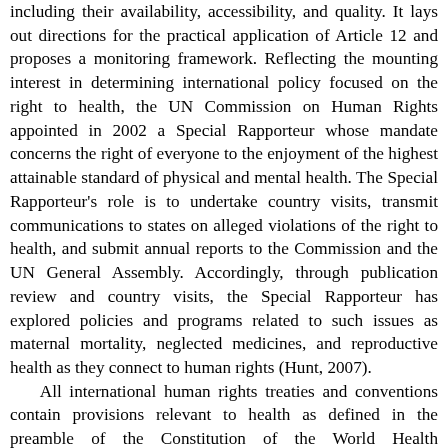including their availability, accessibility, and quality. It lays out directions for the practical application of Article 12 and proposes a monitoring framework. Reflecting the mounting interest in determining international policy focused on the right to health, the UN Commission on Human Rights appointed in 2002 a Special Rapporteur whose mandate concerns the right of everyone to the enjoyment of the highest attainable standard of physical and mental health. The Special Rapporteur's role is to undertake country visits, transmit communications to states on alleged violations of the right to health, and submit annual reports to the Commission and the UN General Assembly. Accordingly, through publication review and country visits, the Special Rapporteur has explored policies and programs related to such issues as maternal mortality, neglected medicines, and reproductive health as they connect to human rights (Hunt, 2007).
    All international human rights treaties and conventions contain provisions relevant to health as defined in the preamble of the Constitution of the World Health Organization (WHO), repeated in many subsequent documents and currently adopted by the 191 WHO Member States: Health is a